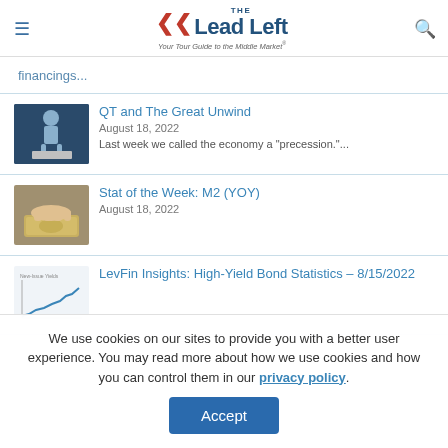The Lead Left — Your Tour Guide to the Middle Market
financings...
QT and The Great Unwind
August 18, 2022
Last week we called the economy a "precession."...
Stat of the Week: M2 (YOY)
August 18, 2022
LevFin Insights: High-Yield Bond Statistics – 8/15/2022
We use cookies on our sites to provide you with a better user experience. You may read more about how we use cookies and how you can control them in our privacy policy.